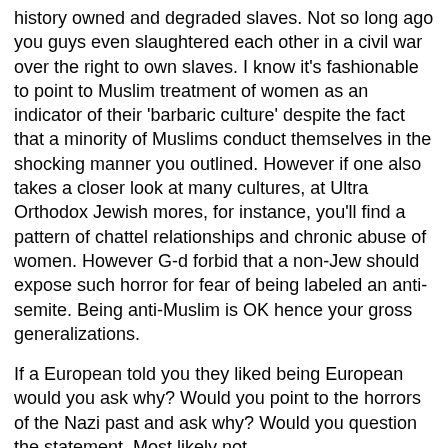history owned and degraded slaves. Not so long ago you guys even slaughtered each other in a civil war over the right to own slaves. I know it's fashionable to point to Muslim treatment of women as an indicator of their 'barbaric culture' despite the fact that a minority of Muslims conduct themselves in the shocking manner you outlined. However if one also takes a closer look at many cultures, at Ultra Orthodox Jewish mores, for instance, you'll find a pattern of chattel relationships and chronic abuse of women. However G-d forbid that a non-Jew should expose such horror for fear of being labeled an anti-semite. Being anti-Muslim is OK hence your gross generalizations.
If a European told you they liked being European would you ask why? Would you point to the horrors of the Nazi past and ask why? Would you question the statement. Most likely not.
So why do I enjoy being Middle Eastern besides the fact that this is home, Israel is a Middle Eastern country, and my folks have lived here for 6+ generations. Quite simply I believe the cycle of history is coming around and it will be our turn again soon. During the heyday of Middle Eastern civilization our part if the world was the catalyst for what came to be called 'The West'. However Europe also went